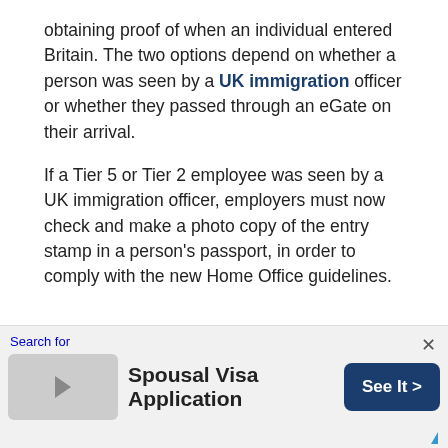obtaining proof of when an individual entered Britain. The two options depend on whether a person was seen by a UK immigration officer or whether they passed through an eGate on their arrival.
If a Tier 5 or Tier 2 employee was seen by a UK immigration officer, employers must now check and make a photo copy of the entry stamp in a person's passport, in order to comply with the new Home Office guidelines.
Search for  Spousal Visa Application  See It >